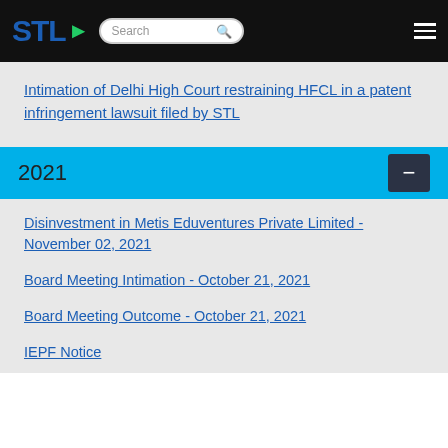STL [logo] Search [hamburger menu]
Intimation of Delhi High Court restraining HFCL in a patent infringement lawsuit filed by STL
2021
Disinvestment in Metis Eduventures Private Limited - November 02, 2021
Board Meeting Intimation - October 21, 2021
Board Meeting Outcome - October 21, 2021
IEPF Notice